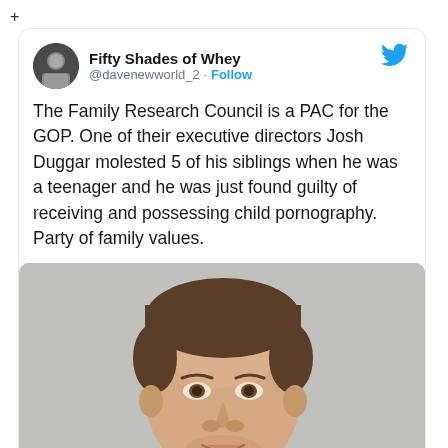+
Fifty Shades of Whey
@davenewworld_2 · Follow
The Family Research Council is a PAC for the GOP. One of their executive directors Josh Duggar molested 5 of his siblings when he was a teenager and he was just found guilty of receiving and possessing child pornography. Party of family values.
[Figure (photo): Mugshot/headshot photo of a man with short brown hair against a gray background, smiling slightly]